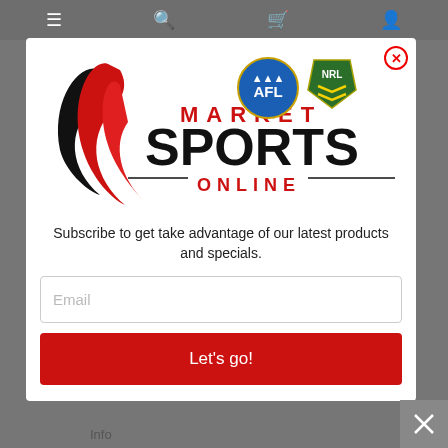[Figure (screenshot): Market Sports Online website screenshot with navigation bar (hamburger menu, search, cart, user icons) and a subscription modal popup containing the Market Sports Online logo (with AFL and NRL logos), subscription text, email input field, and Let's go! button.]
Subscribe to get take advantage of our latest products and specials.
Email
Let's go!
Info